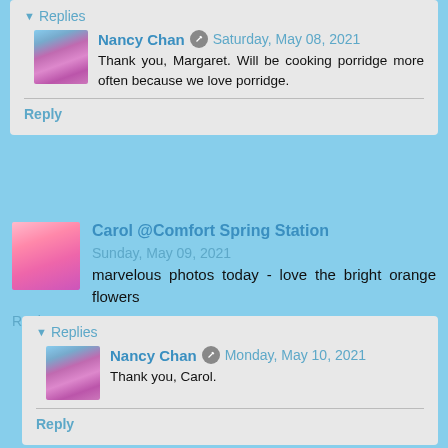Replies
Nancy Chan  Saturday, May 08, 2021
Thank you, Margaret. Will be cooking porridge more often because we love porridge.
Reply
Carol @Comfort Spring Station  Sunday, May 09, 2021
marvelous photos today - love the bright orange flowers
Reply
Replies
Nancy Chan  Monday, May 10, 2021
Thank you, Carol.
Reply